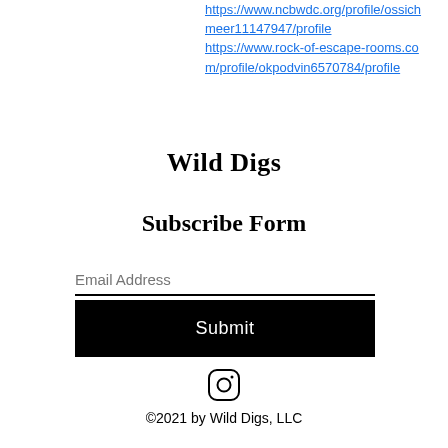https://www.ncbwdc.org/profile/ossichmeer11147947/profile https://www.rock-of-escape-rooms.com/profile/okpodvin6570784/profile
Wild Digs
Subscribe Form
Email Address
Submit
[Figure (other): Instagram icon (circle with camera outline)]
©2021 by Wild Digs, LLC